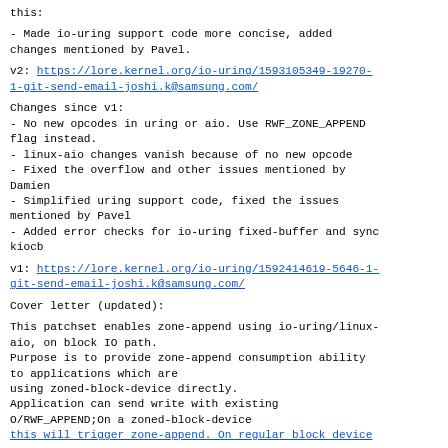this:
- Made io-uring support code more concise, added changes mentioned by Pavel.
v2: https://lore.kernel.org/io-uring/1593105349-19270-1-git-send-email-joshi.k@samsung.com/
Changes since v1:
- No new opcodes in uring or aio. Use RWF_ZONE_APPEND flag instead.
- linux-aio changes vanish because of no new opcode
- Fixed the overflow and other issues mentioned by Damien
- Simplified uring support code, fixed the issues mentioned by Pavel
- Added error checks for io-uring fixed-buffer and sync kiocb
v1: https://lore.kernel.org/io-uring/1592414619-5646-1-git-send-email-joshi.k@samsung.com/
Cover letter (updated):
This patchset enables zone-append using io-uring/linux-aio, on block IO path.
Purpose is to provide zone-append consumption ability to applications which are
using zoned-block-device directly.
Application can send write with existing
O/RWF_APPEND;On a zoned-block-device
this will trigger zone-append. On regular block device